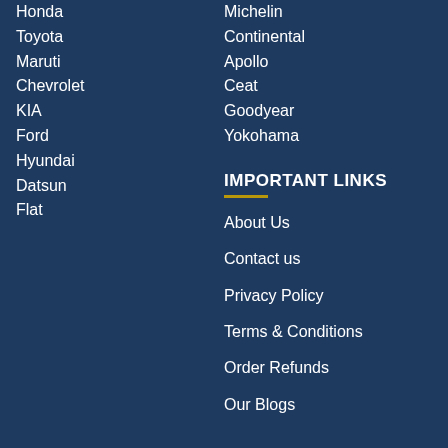Honda
Toyota
Maruti
Chevrolet
KIA
Ford
Hyundai
Datsun
Flat
Michelin
Continental
Apollo
Ceat
Goodyear
Yokohama
IMPORTANT LINKS
About Us
Contact us
Privacy Policy
Terms & Conditions
Order Refunds
Our Blogs